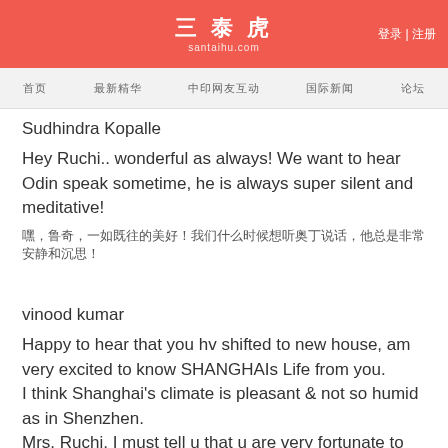三泰虎 santaihu.com 登录 | 注册
首页 最新精华 中印网友互动 国际新闻 论坛
Sudhindra Kopalle
Hey Ruchi.. wonderful as always! We want to hear Odin speak sometime, he is always super silent and meditative!
嘿，鲁奇，一如既往的美好！我们什么时候想听奥丁说话，他总是非常安静和沉思！
vinood kumar
Happy to hear that you hv shifted to new house, am very excited to know SHANGHAIs Life from you.
I think Shanghai's climate is pleasant & not so humid as in Shenzhen.
Mrs. Ruchi, I must tell u that u are very fortunate to be there,